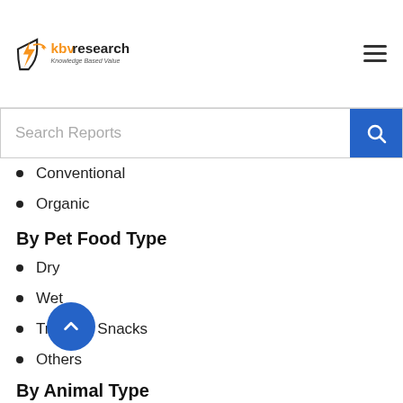KBV Research – Knowledge Based Value
Conventional
Organic
By Pet Food Type
Dry
Wet
Treats & Snacks
Others
By Animal Type
Dogs
Cats